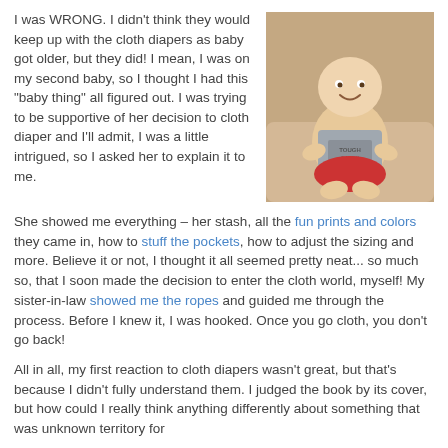I was WRONG. I didn't think they would keep up with the cloth diapers as baby got older, but they did! I mean, I was on my second baby, so I thought I had this "baby thing" all figured out. I was trying to be supportive of her decision to cloth diaper and I'll admit, I was a little intrigued, so I asked her to explain it to me.
[Figure (photo): Photo of a smiling baby wearing a gray shirt and red cloth diaper, sitting on a beige couch]
She showed me everything – her stash, all the fun prints and colors they came in, how to stuff the pockets, how to adjust the sizing and more. Believe it or not, I thought it all seemed pretty neat... so much so, that I soon made the decision to enter the cloth world, myself! My sister-in-law showed me the ropes and guided me through the process. Before I knew it, I was hooked. Once you go cloth, you don't go back!
All in all, my first reaction to cloth diapers wasn't great, but that's because I didn't fully understand them. I judged the book by its cover, but how could I really think anything differently about something that was unknown territory for